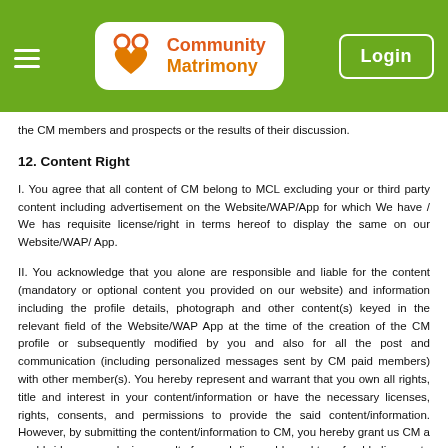[Figure (logo): Community Matrimony logo with heart icon on green navigation bar with hamburger menu and Login button]
the CM members and prospects or the results of their discussion.
12. Content Right
I. You agree that all content of CM belong to MCL excluding your or third party content including advertisement on the Website/WAP/App for which We have / We has requisite license/right in terms hereof to display the same on our Website/WAP/ App.
II. You acknowledge that you alone are responsible and liable for the content (mandatory or optional content you provided on our website) and information including the profile details, photograph and other content(s) keyed in the relevant field of the Website/WAP App at the time of the creation of the CM profile or subsequently modified by you and also for all the post and communication (including personalized messages sent by CM paid members) with other member(s). You hereby represent and warrant that you own all rights, title and interest in your content/information or have the necessary licenses, rights, consents, and permissions to provide the said content/information. However, by submitting the content/information to CM, you hereby grant us CM a worldwide, non-exclusive, royalty-free, sub-licensable and transferable license to use, reproduce, distribute, prepare derivative works of, display, publish, communicate to the public, law enforcement agencies, courts, and Our / The CM's business and